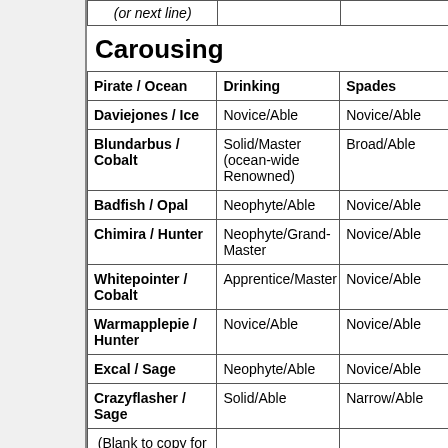| (or next line) |  |  |
| --- | --- | --- |
Carousing
| Pirate / Ocean | Drinking | Spades |
| --- | --- | --- |
| Daviejones / Ice | Novice/Able | Novice/Able |
| Blundarbus / Cobalt | Solid/Master (ocean-wide Renowned) | Broad/Able |
| Badfish / Opal | Neophyte/Able | Novice/Able |
| Chimira / Hunter | Neophyte/Grand-Master | Novice/Able |
| Whitepointer / Cobalt | Apprentice/Master | Novice/Able |
| Warmapplepie / Hunter | Novice/Able | Novice/Able |
| Excal / Sage | Neophyte/Able | Novice/Able |
| Crazyflasher / Sage | Solid/Able | Narrow/Able |
| (Blank to copy for next |  |  |